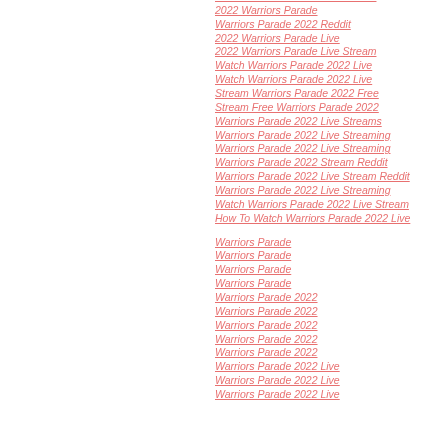Warriors Parade 2022 Live Stream
2022 Warriors Parade
Warriors Parade 2022 Reddit
2022 Warriors Parade Live
2022 Warriors Parade Live Stream
Watch Warriors Parade 2022 Live
Watch Warriors Parade 2022 Live
Stream Warriors Parade 2022 Free
Stream Free Warriors Parade 2022
Warriors Parade 2022 Live Streams
Warriors Parade 2022 Live Streaming
Warriors Parade 2022 Live Streaming
Warriors Parade 2022 Stream Reddit
Warriors Parade 2022 Live Stream Reddit
Warriors Parade 2022 Live Streaming
Watch Warriors Parade 2022 Live Stream
How To Watch Warriors Parade 2022 Live
Warriors Parade
Warriors Parade
Warriors Parade
Warriors Parade
Warriors Parade 2022
Warriors Parade 2022
Warriors Parade 2022
Warriors Parade 2022
Warriors Parade 2022
Warriors Parade 2022 Live
Warriors Parade 2022 Live
Warriors Parade 2022 Live